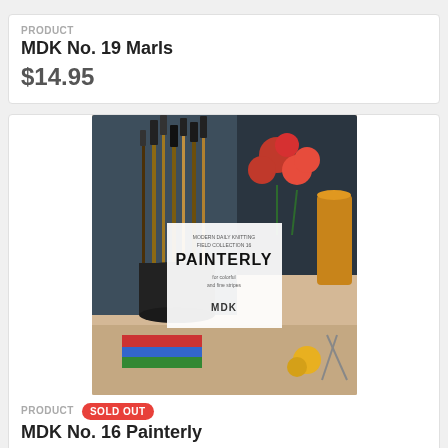PRODUCT
MDK No. 19 Marls
$14.95
[Figure (photo): Book cover of MDK No. 16 Painterly, showing paint brushes, red flowers, and art supplies on a wooden table. White label in center reads PAINTERLY MDK.]
PRODUCT  SOLD OUT
MDK No. 16 Painterly